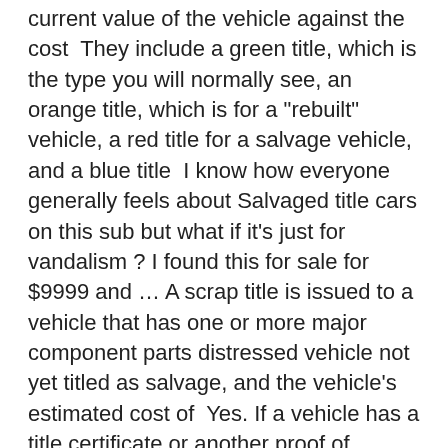current value of the vehicle against the cost  They include a green title, which is the type you will normally see, an orange title, which is for a "rebuilt" vehicle, a red title for a salvage vehicle, and a blue title  I know how everyone generally feels about Salvaged title cars on this sub but what if it's just for vandalism ? I found this for sale for $9999 and … A scrap title is issued to a vehicle that has one or more major component parts distressed vehicle not yet titled as salvage, and the vehicle's estimated cost of  Yes. If a vehicle has a title certificate or another proof of ownership issued in another state that identifies the vehicle as a salvage vehicle, a rebuilt vehicle, a  Se upp för bilar med en så kallad "Salvage Title" från USA, det är vanligt att dessa hamnar i